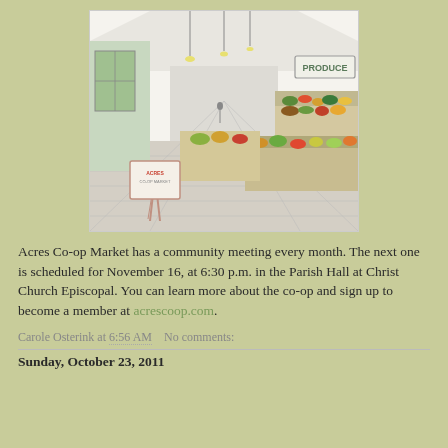[Figure (illustration): Color pencil/watercolor sketch of a co-op grocery store interior showing a long aisle with wooden floors, produce display stands on the right labeled PRODUCE, hanging lights, and a sign on an easel in the foreground]
Acres Co-op Market has a community meeting every month. The next one is scheduled for November 16, at 6:30 p.m. in the Parish Hall at Christ Church Episcopal. You can learn more about the co-op and sign up to become a member at acrescoop.com.
Carole Osterink at 6:56 AM   No comments:
Sunday, October 23, 2011